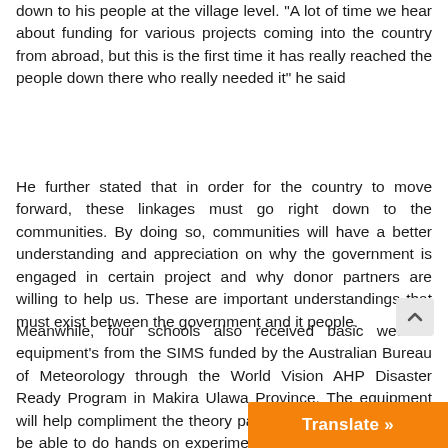down to his people at the village level. "A lot of time we hear about funding for various projects coming into the country from abroad, but this is the first time it has really reached the people down there who really needed it" he said
He further stated that in order for the country to move forward, these linkages must go right down to the communities. By doing so, communities will have a better understanding and appreciation on why the government is engaged in certain project and why donor partners are willing to help us. These are important understandings that must exist between the government and it people.
Meanwhile, four schools also received basic weather equipment's from the SIMS funded by the Australian Bureau of Meteorology through the World Vision AHP Disaster Ready Program in Makira Ulawa Province. The equipment will help compliment the theory part of student's learning, to be able to do hands on experiments using the equipment's. The initiative is part of SIMS awareness approach to help students and communities better understand the